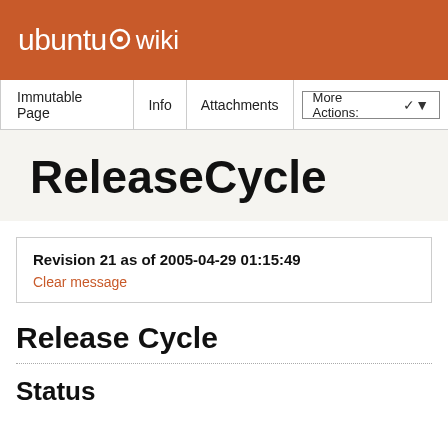ubuntu wiki
Immutable Page | Info | Attachments | More Actions:
ReleaseCycle
Revision 21 as of 2005-04-29 01:15:49
Clear message
Release Cycle
Status